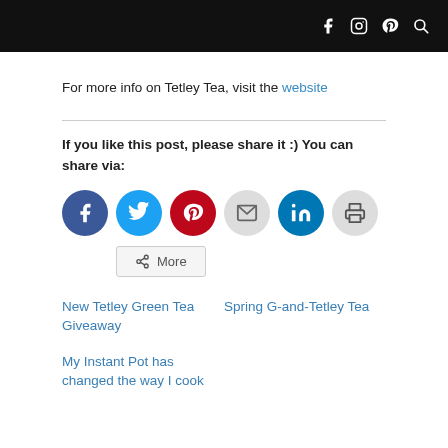[icons: facebook, instagram, pinterest, search]
For more info on Tetley Tea, visit the website
If you like this post, please share it :) You can share via:
[Figure (infographic): Row of social share buttons: Facebook (blue circle), Twitter (light blue circle), Pinterest (red circle), Email (gray circle), LinkedIn (teal circle), Print (gray circle), then a More button with share icon]
New Tetley Green Tea Giveaway
Spring G-and-Tetley Tea
My Instant Pot has changed the way I cook